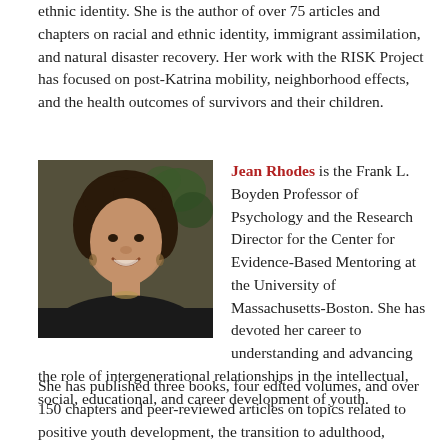ethnic identity. She is the author of over 75 articles and chapters on racial and ethnic identity, immigrant assimilation, and natural disaster recovery. Her work with the RISK Project has focused on post-Katrina mobility, neighborhood effects, and the health outcomes of survivors and their children.
[Figure (photo): Portrait photo of Jean Rhodes, a woman with dark curly hair wearing a black top, smiling, with a plant in the background]
Jean Rhodes is the Frank L. Boyden Professor of Psychology and the Research Director for the Center for Evidence-Based Mentoring at the University of Massachusetts-Boston. She has devoted her career to understanding and advancing the role of intergenerational relationships in the intellectual, social, educational, and career development of youth. She has published three books, four edited volumes, and over 150 chapters and peer-reviewed articles on topics related to positive youth development, the transition to adulthood, natural disaster, and mentoring. Her work with the RISK Project